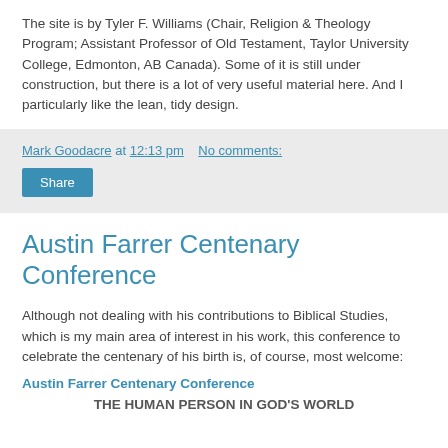The site is by Tyler F. Williams (Chair, Religion & Theology Program; Assistant Professor of Old Testament, Taylor University College, Edmonton, AB Canada). Some of it is still under construction, but there is a lot of very useful material here. And I particularly like the lean, tidy design.
Mark Goodacre at 12:13 pm   No comments:
Share
Austin Farrer Centenary Conference
Although not dealing with his contributions to Biblical Studies, which is my main area of interest in his work, this conference to celebrate the centenary of his birth is, of course, most welcome:
Austin Farrer Centenary Conference
THE HUMAN PERSON IN GOD'S WORLD